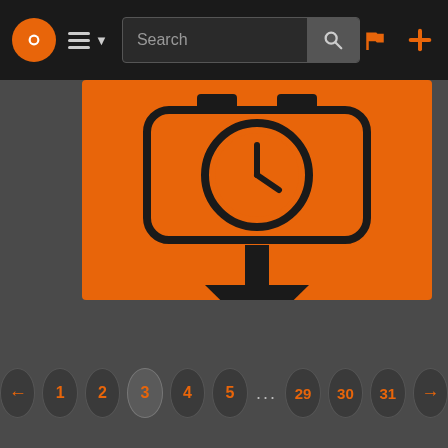Navigation bar with logo, menu, search, login and add icons
[Figure (screenshot): Timed Switch app/plugin card with orange icon showing a clock above a download arrow on orange background]
Timed Switch
★★★★★ (0)
← 1 2 3 4 5 ... 29 30 31 →